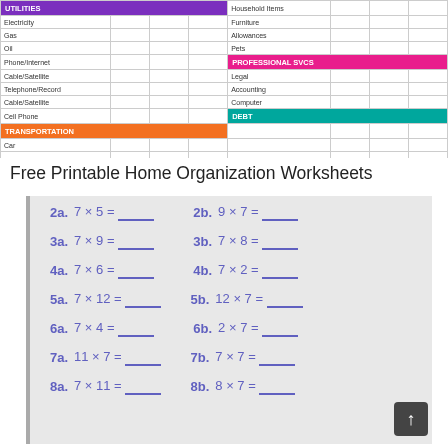[Figure (table-as-image): Budget/expense spreadsheet table with categories: UTILITIES (purple header), TRANSPORTATION (orange header), Household Items, PROFESSIONAL SVCS (pink header), DEBT (teal header), with rows for Electricity, Gas, Oil, Phone/Internet, Cable/Satellite, Telephone/Record, Cable/Satellite, Cell Phone, Car; and Household Items, Furniture, Allowances, Pets, Legal, Accounting, Computer]
Free Printable Home Organization Worksheets
[Figure (screenshot): Math multiplication worksheet showing problems: 2a. 7 x 5 = ___, 2b. 9 x 7 = ___; 3a. 7 x 9 = ___, 3b. 7 x 8 = ___; 4a. 7 x 6 = ___, 4b. 7 x 2 = ___; 5a. 7 x 12 = ___, 5b. 12 x 7 = ___; 6a. 7 x 4 = ___, 6b. 2 x 7 = ___; 7a. 11 x 7 = ___, 7b. 7 x 7 = ___; 8a. 7 x 11 = ___, 8b. 8 x 7 = ___]